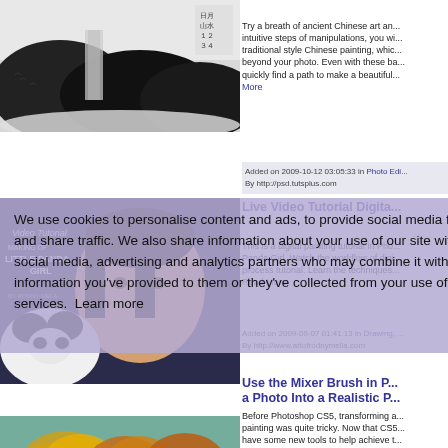[Figure (photo): Black and white Chinese ink painting landscape with mountains, waterfall, and mist]
Try a breath of ancient Chinese art and... intuitive steps of manipulations, you wi... traditional style Chinese painting, whi... beyond your photo. Even with these b... quickly find a path to make a beautiful... More
Added on 2009-10-12 03:05:33 in Photo Edi... By http://psd.tutsplus.com
[Figure (photo): Digital painting tutorial cover - Little Panda Girl, child holding panda]
Live Video Tutorial Digita...
This is a digital painting tutorial in Pho... Panda Girl. Watch the workflow of digi... process tutorial. Learn the techniques... Read More
Added on 2009-09-07 01:41:13 in Drawing, ... By http://www.artofrodnymella.com
[Figure (photo): Oil painting of autumn trees with yellow and orange foliage]
Use the Mixer Brush in P... a Photo Into a Realistic P...
Before Photoshop CS5, transforming a... painting was quite tricky. Now that CS5... have some new tools to help achieve t... In today's tutorial we will demonstrat...
We use cookies to personalise content and ads, to provide social media features and share traffic. We also share information about your use of our site with our social media, advertising and analytics partners who may combine it with other information you've provided to them or they've collected from your use of their services. Learn more